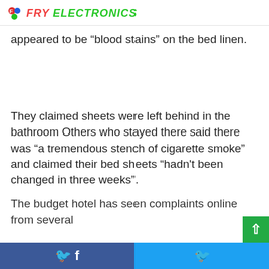FRY ELECTRONICS
appeared to be “blood stains” on the bed linen.
They claimed sheets were left behind in the bathroom Others who stayed there said there was “a tremendous stench of cigarette smoke” and claimed their bed sheets “hadn't been changed in three weeks”.
The budget hotel has seen complaints online from several
Facebook share | Twitter share